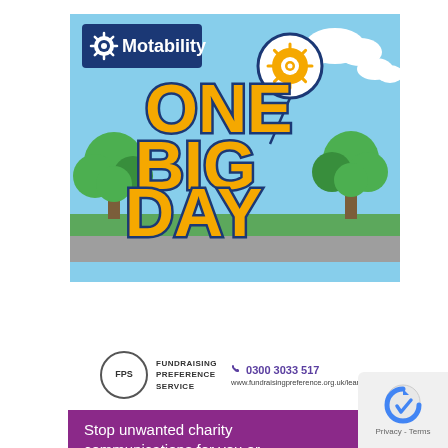[Figure (illustration): Motability 'One Big Day' promotional illustration with sky blue background, trees, clouds, and large yellow bold text reading ONE BIG DAY with Motability logo in top left and a speech bubble balloon with Motability sunburst icon]
[Figure (logo): FPS (Fundraising Preference Service) logo circle with text, phone number 0300 3033 517 in purple, and website www.fundraisingpreference.org.uk/learn]
Stop unwanted charity communications for you or